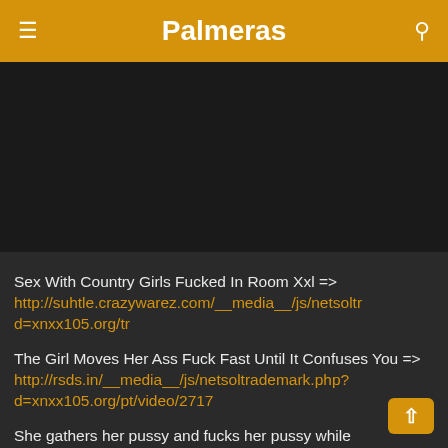Palmeras
[Figure (other): Black video player area]
Sex With Country Girls Fucked In Room Xxl => http://suhtle.crazywarez.com/__media__/js/netsoltrd=xnxx105.org/tr
The Girl Moves Her Ass Fuck Fast Until It Confuses You => http://rsds.in/__media__/js/netsoltrademark.php?d=xnxx105.org/pt/video/2717
She gathers her pussy and fucks her pussy while